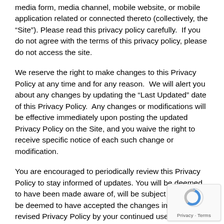media form, media channel, mobile website, or mobile application related or connected thereto (collectively, the “Site”). Please read this privacy policy carefully.  If you do not agree with the terms of this privacy policy, please do not access the site.
We reserve the right to make changes to this Privacy Policy at any time and for any reason.  We will alert you about any changes by updating the “Last Updated” date of this Privacy Policy.  Any changes or modifications will be effective immediately upon posting the updated Privacy Policy on the Site, and you waive the right to receive specific notice of each such change or modification.
You are encouraged to periodically review this Privacy Policy to stay informed of updates. You will be deemed to have been made aware of, will be subject to, and will be deemed to have accepted the changes in any revised Privacy Policy by your continued use of the Site after the date such revised Privacy Policy is posted.
COLLECTION OF YOUR INFORMATION
[Figure (other): Google reCAPTCHA badge with refresh icon and Privacy · Terms links]